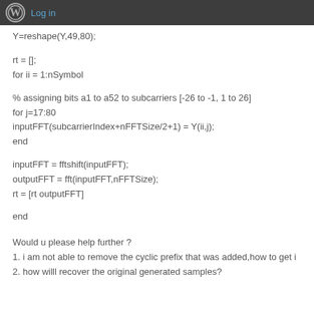Log in
Y=reshape(Y,49,80);
rt = [];
for ii = 1:nSymbol
% assigning bits a1 to a52 to subcarriers [-26 to -1, 1 to 26]
for j=17:80
inputFFT(subcarrierIndex+nFFTSize/2+1) = Y(ii,j);
end
inputFFT = fftshift(inputFFT);
outputFFT = fft(inputFFT,nFFTSize);
rt = [rt outputFFT]
end
Would u please help further ?
1. i am not able to remove the cyclic prefix that was added,how to get i
2. how willl recover the original generated samples?